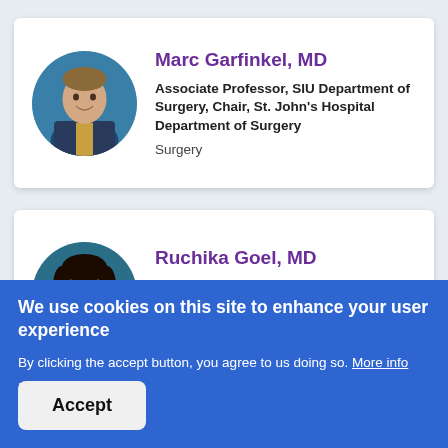[Figure (photo): Circular headshot of Dr. Marc Garfinkel, a man in a suit with a teal/blue background]
Marc Garfinkel, MD
Associate Professor, SIU Department of Surgery, Chair, St. John's Hospital Department of Surgery
Surgery
[Figure (photo): Circular headshot of Dr. Ruchika Goel, a woman with dark hair and a teal/blue background]
Ruchika Goel, MD
Associate Professor, Hematology/Oncology , Department of Internal Medicine
We use cookies on this site to enhance your user experience
By clicking the accept button, you agree to us doing so. More info
No thanks
Accept